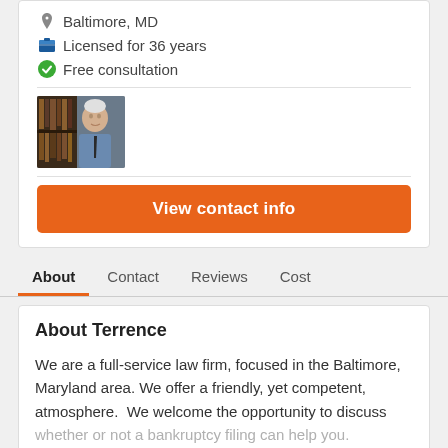Baltimore, MD
Licensed for 36 years
Free consultation
[Figure (photo): Photo of an elderly attorney in a blue shirt and dark tie, standing in front of bookshelves with law books]
View contact info
About   Contact   Reviews   Cost
About Terrence
We are a full-service law firm, focused in the Baltimore, Maryland area. We offer a friendly, yet competent, atmosphere.  We welcome the opportunity to discuss whether or not a bankruptcy filing can help you.